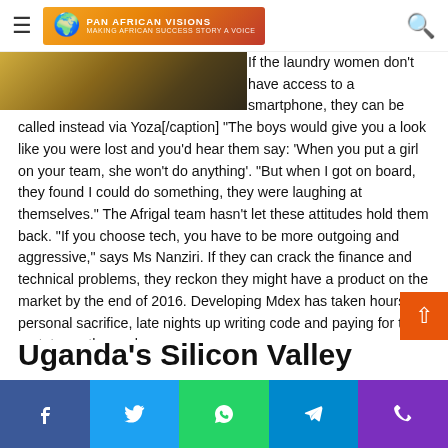PAN AFRICAN VISIONS - Making African Success Story a Voice
[Figure (photo): Partial photo strip of people, cropped at top of article]
If the laundry women don't have access to a smartphone, they can be called instead via Yoza[/caption] "The boys would give you a look like you were lost and you'd hear them say: 'When you put a girl on your team, she won't do anything'. "But when I got on board, they found I could do something, they were laughing at themselves." The Afrigal team hasn't let these attitudes hold them back. "If you choose tech, you have to be more outgoing and aggressive," says Ms Nanziri. If they can crack the finance and technical problems, they reckon they might have a product on the market by the end of 2016. Developing Mdex has taken hours of personal sacrifice, late nights up writing code and paying for the prototypes themselves.
Uganda's Silicon Valley
Facebook | Twitter | WhatsApp | Telegram | Phone